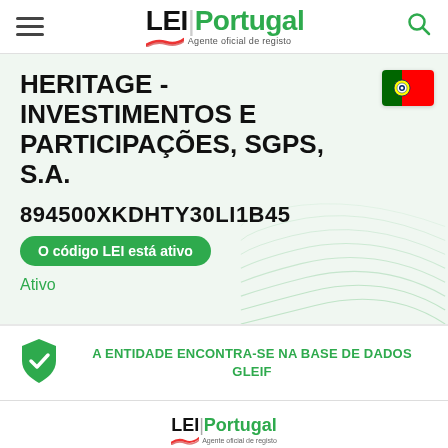LEI Portugal - Agente oficial de registo
HERITAGE - INVESTIMENTOS E PARTICIPAÇÕES, SGPS, S.A.
894500XKDHTY30LI1B45
O código LEI está ativo
Ativo
A ENTIDADE ENCONTRA-SE NA BASE DE DADOS GLEIF
LEI Portugal - Agente oficial de registo